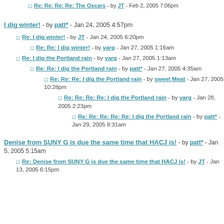Re: Re: Re: Re: The Oscars - by JT - Feb 2, 2005 7:06pm
I dig winter! - by patt* - Jan 24, 2005 4:57pm
Re: I dig winter! - by JT - Jan 24, 2005 6:20pm
Re: Re: I dig winter! - by varg - Jan 27, 2005 1:16am
Re: I dig the Portland rain - by varg - Jan 27, 2005 1:13am
Re: Re: I dig the Portland rain - by patt* - Jan 27, 2005 4:35am
Re: Re: Re: I dig the Portland rain - by sweet Meat - Jan 27, 2005 10:28pm
Re: Re: Re: Re: I dig the Portland rain - by varg - Jan 28, 2005 2:23pm
Re: Re: Re: Re: Re: I dig the Portland rain - by patt* - Jan 29, 2005 8:31am
Denise from SUNY G is due the same time that HACJ is! - by patt* - Jan 5, 2005 5:15am
Re: Denise from SUNY G is due the same time that HACJ is! - by JT - Jan 13, 2005 6:15pm